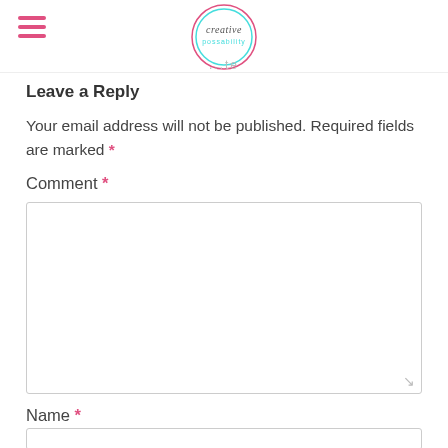[hamburger menu icon] creative possability logo
Leave a Reply
Your email address will not be published. Required fields are marked *
Comment *
Name *